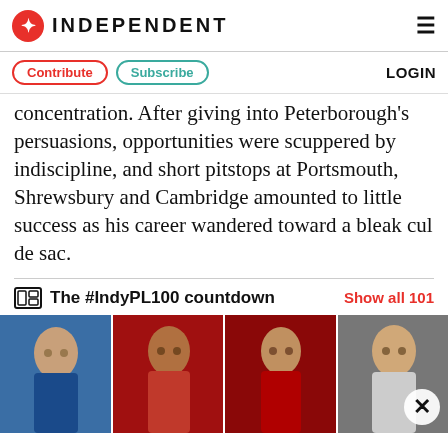INDEPENDENT
Contribute  Subscribe  LOGIN
concentration. After giving into Peterborough's persuasions, opportunities were scuppered by indiscipline, and short pitstops at Portsmouth, Shrewsbury and Cambridge amounted to little success as his career wandered toward a bleak cul de sac.
The #IndyPL100 countdown
Show all 101
[Figure (photo): Photo strip showing four Premier League footballers including Frank Lampard, Thierry Henry, Ryan Giggs, and another player]